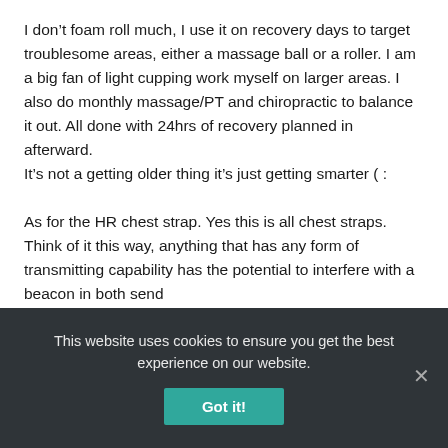I don't foam roll much, I use it on recovery days to target troublesome areas, either a massage ball or a roller. I am a big fan of light cupping work myself on larger areas. I also do monthly massage/PT and chiropractic to balance it out. All done with 24hrs of recovery planned in afterward.
It's not a getting older thing it's just getting smarter ( :

As for the HR chest strap. Yes this is all chest straps. Think of it this way, anything that has any form of transmitting capability has the potential to interfere with a beacon in both send
This website uses cookies to ensure you get the best experience on our website.